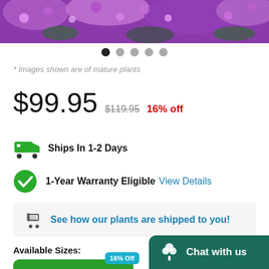[Figure (photo): Purple and pink flowers (mature plants) shown in a photo strip at top]
* Images shown are of mature plants
$99.95  $119.95  16% off
Ships In 1-2 Days
1-Year Warranty Eligible  View Details
See how our plants are shipped to you!
Available Sizes:
16% Off  3 Gallon
Chat with us